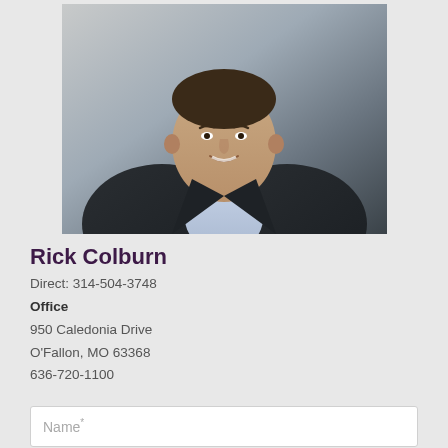[Figure (photo): Professional headshot of Rick Colburn, a man in a dark pinstripe suit jacket with a light blue dress shirt, smiling, against a light gray background.]
Rick Colburn
Direct: 314-504-3748
Office
950 Caledonia Drive
O'Fallon, MO 63368
636-720-1100